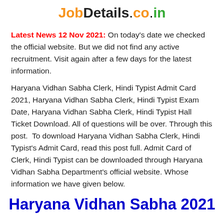JobDetails.co.in
Latest News 12 Nov 2021: On today's date we checked the official website. But we did not find any active recruitment. Visit again after a few days for the latest information.
Haryana Vidhan Sabha Clerk, Hindi Typist Admit Card 2021, Haryana Vidhan Sabha Clerk, Hindi Typist Exam Date, Haryana Vidhan Sabha Clerk, Hindi Typist Hall Ticket Download. All of questions will be over. Through this post.  To download Haryana Vidhan Sabha Clerk, Hindi Typist's Admit Card, read this post full. Admit Card of Clerk, Hindi Typist can be downloaded through Haryana Vidhan Sabha Department's official website. Whose information we have given below.
Haryana Vidhan Sabha 2021